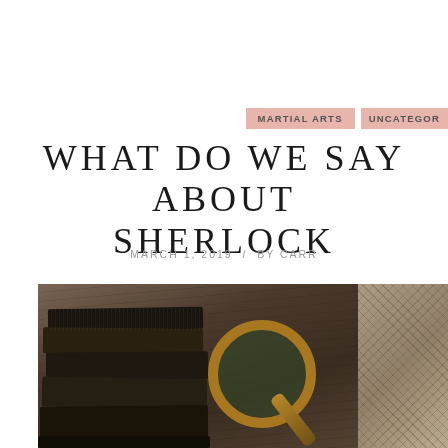MARTIAL ARTS   UNCATEGOR…
WHAT DO WE SAY ABOUT SHERLOCK
MARCH 1, 2019  /  BY CARR…
[Figure (photo): Stack of old dark books on a wooden surface beside a brass magnifying glass and a tweed deerstalker hat, reminiscent of Sherlock Holmes detective theme.]